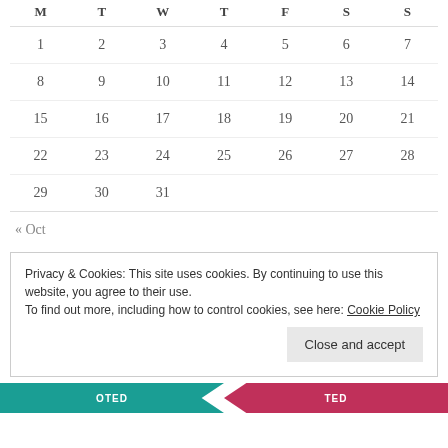| M | T | W | T | F | S | S |
| --- | --- | --- | --- | --- | --- | --- |
| 1 | 2 | 3 | 4 | 5 | 6 | 7 |
| 8 | 9 | 10 | 11 | 12 | 13 | 14 |
| 15 | 16 | 17 | 18 | 19 | 20 | 21 |
| 22 | 23 | 24 | 25 | 26 | 27 | 28 |
| 29 | 30 | 31 |  |  |  |  |
« Oct
Privacy & Cookies: This site uses cookies. By continuing to use this website, you agree to their use.
To find out more, including how to control cookies, see here: Cookie Policy
Close and accept